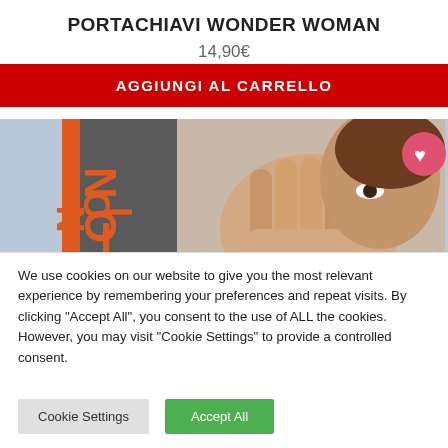PORTACHIAVI WONDER WOMAN
14,90€
AGGIUNGI AL CARRELLO
[Figure (photo): Product image showing a woman holding her hand up toward the camera, with an orange and grey panel on the left side displaying 'NOI 20'. A pink heart/love icon is visible in the upper right corner of the image.]
We use cookies on our website to give you the most relevant experience by remembering your preferences and repeat visits. By clicking "Accept All", you consent to the use of ALL the cookies. However, you may visit "Cookie Settings" to provide a controlled consent.
Cookie Settings
Accept All